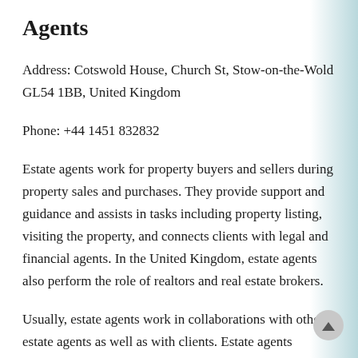Agents
Address: Cotswold House, Church St, Stow-on-the-Wold GL54 1BB, United Kingdom
Phone: +44 1451 832832
Estate agents work for property buyers and sellers during property sales and purchases. They provide support and guidance and assists in tasks including property listing, visiting the property, and connects clients with legal and financial agents. In the United Kingdom, estate agents also perform the role of realtors and real estate brokers.
Usually, estate agents work in collaborations with other estate agents as well as with clients. Estate agents promote their services through marketing and